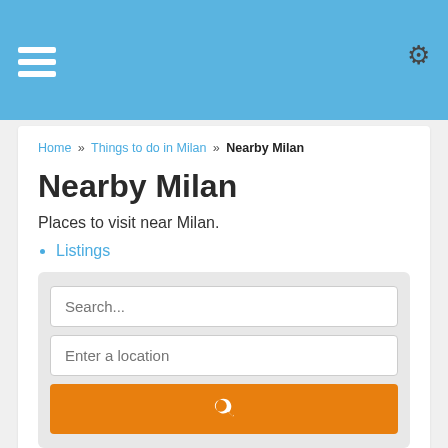Nearby Milan
Home » Things to do in Milan » Nearby Milan
Nearby Milan
Places to visit near Milan.
Listings
[Figure (screenshot): Search form with two text inputs (Search... and Enter a location) and an orange search button with magnifying glass icon]
Sort by: Newest First ▾